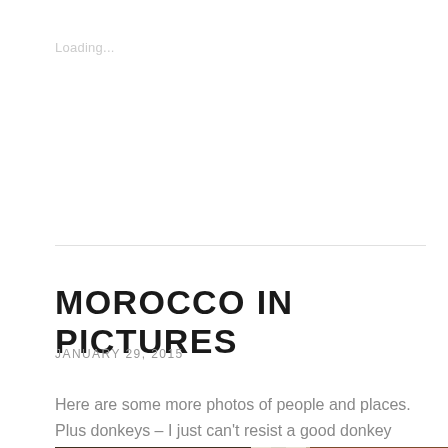Loading...
MOROCCO IN PICTURES
JANUARY 29, 2015
Here are some more photos of people and places. Plus donkeys – I just can't resist a good donkey photo.
[Figure (photo): Photo of old Moroccan wooden doors and walls, showing weathered paint and aged wood textures]